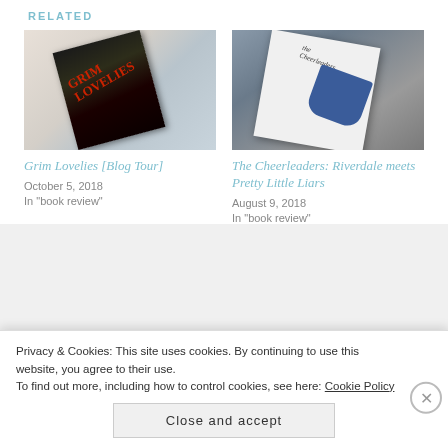RELATED
[Figure (photo): Photo of Grim Lovelies book cover lying on white fabric background]
Grim Lovelies [Blog Tour]
October 5, 2018
In "book review"
[Figure (photo): Photo of The Cheerleaders book cover on gray stone surface]
The Cheerleaders: Riverdale meets Pretty Little Liars
August 9, 2018
In "book review"
Privacy & Cookies: This site uses cookies. By continuing to use this website, you agree to their use.
To find out more, including how to control cookies, see here: Cookie Policy
Close and accept